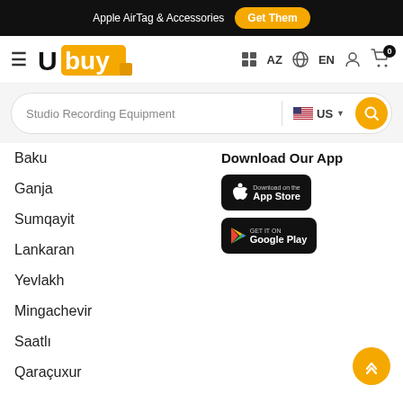Apple AirTag & Accessories  Get Them
[Figure (logo): Ubuy logo with orange square background]
AZ  EN
Studio Recording Equipment  US
Baku
Ganja
Sumqayit
Lankaran
Yevlakh
Mingachevir
Saatlı
Qaraçuxur
Download Our App
[Figure (screenshot): App Store and Google Play download buttons]